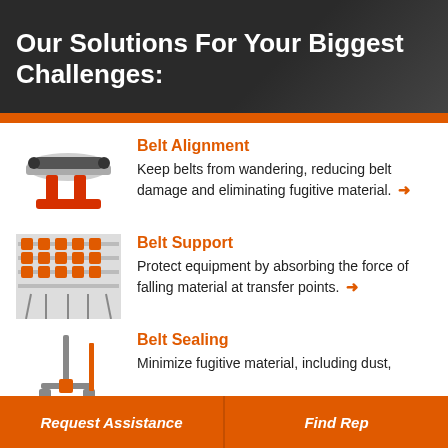Our Solutions For Your Biggest Challenges:
Belt Alignment
Keep belts from wandering, reducing belt damage and eliminating fugitive material.
Belt Support
Protect equipment by absorbing the force of falling material at transfer points.
Belt Sealing
Minimize fugitive material, including dust,
Request Assistance | Find Rep